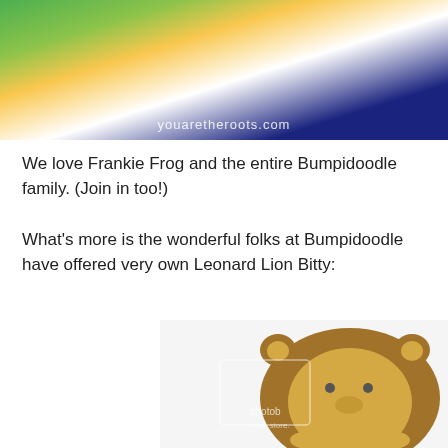[Figure (photo): Top portion of a stuffed animal photo with youaretheroots.com watermark visible on a yellow/green background]
We love Frankie Frog and the entire Bumpidoodle family. (Join in too!)
What's more is the wonderful folks at Bumpidoodle have offered very own Leonard Lion Bitty:
[Figure (photo): A round, chubby stuffed lion toy (Leonard Lion Bitty) with brown mane, tan/yellow face, small ears, and tiny paws, with a Photobucket watermark overlay]